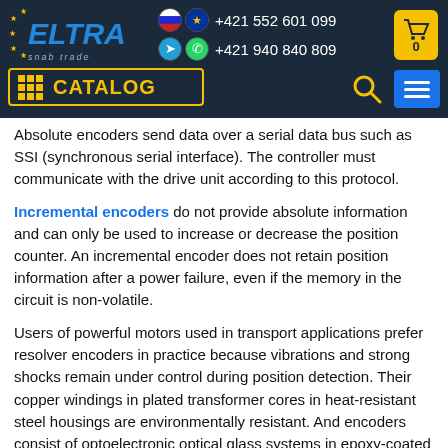ELTRA snab trade — +421 552 601 099 / +421 940 840 809 — CATALOG
Absolute encoders send data over a serial data bus such as SSI (synchronous serial interface). The controller must communicate with the drive unit according to this protocol.
Incremental encoders do not provide absolute information and can only be used to increase or decrease the position counter. An incremental encoder does not retain position information after a power failure, even if the memory in the circuit is non-volatile.
Users of powerful motors used in transport applications prefer resolver encoders in practice because vibrations and strong shocks remain under control during position detection. Their copper windings in plated transformer cores in heat-resistant steel housings are environmentally resistant. And encoders consist of optoelectronic optical glass systems in epoxy-coated plastic housings and are environmentally sensitive. Because of shock and vibration, the accuracy of